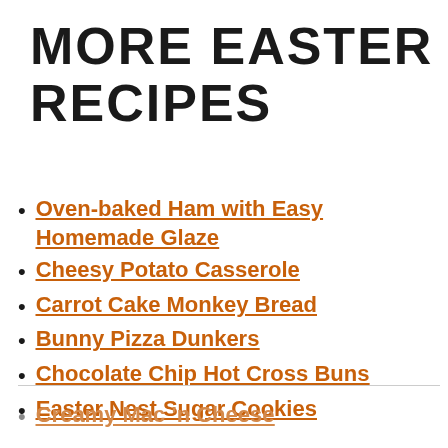MORE EASTER RECIPES
Oven-baked Ham with Easy Homemade Glaze
Cheesy Potato Casserole
Carrot Cake Monkey Bread
Bunny Pizza Dunkers
Chocolate Chip Hot Cross Buns
Easter Nest Sugar Cookies
Creamy Mac 'n Cheese